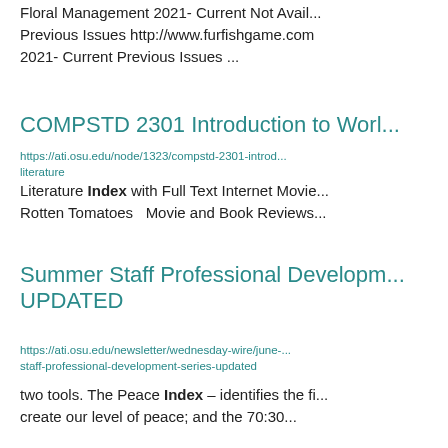Floral Management 2021- Current Not Avail... Previous Issues http://www.furfishgame.com 2021- Current Previous Issues ...
COMPSTD 2301 Introduction to Worl...
https://ati.osu.edu/node/1323/compstd-2301-introd... literature
Literature Index with Full Text Internet Movie... Rotten Tomatoes  Movie and Book Reviews...
Summer Staff Professional Developm... UPDATED
https://ati.osu.edu/newsletter/wednesday-wire/june-... staff-professional-development-series-updated
two tools. The Peace Index – identifies the fi... create our level of peace; and the 70:30...